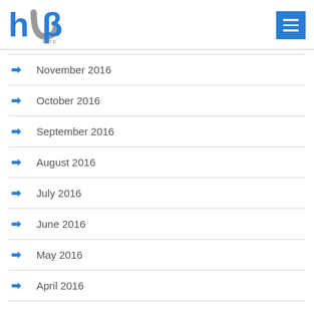HUB SITE
November 2016
October 2016
September 2016
August 2016
July 2016
June 2016
May 2016
April 2016